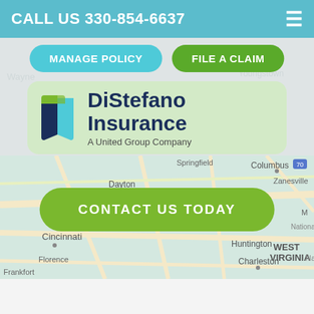CALL US 330-854-6637
MANAGE POLICY
FILE A CLAIM
[Figure (logo): DiStefano Insurance logo with stylized book/shield icon in dark blue, teal and green. Text reads 'DiStefano Insurance — A United Group Company']
[Figure (map): Road map showing Ohio and surrounding states including Columbus, Dayton, Cincinnati, Zanesville, Huntington, Charleston, West Virginia, Springfield, Mason, Florence, Frankfort]
CONTACT US TODAY